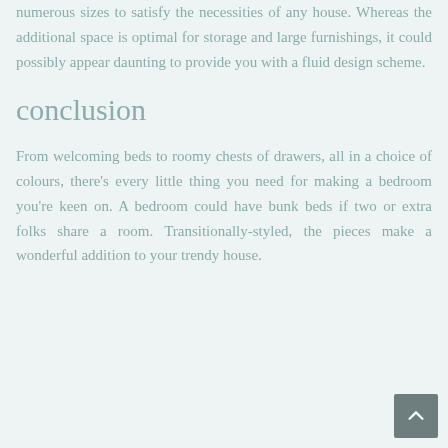numerous sizes to satisfy the necessities of any house. Whereas the additional space is optimal for storage and large furnishings, it could possibly appear daunting to provide you with a fluid design scheme.
conclusion
From welcoming beds to roomy chests of drawers, all in a choice of colours, there's every little thing you need for making a bedroom you're keen on. A bedroom could have bunk beds if two or extra folks share a room. Transitionally-styled, the pieces make a wonderful addition to your trendy house.